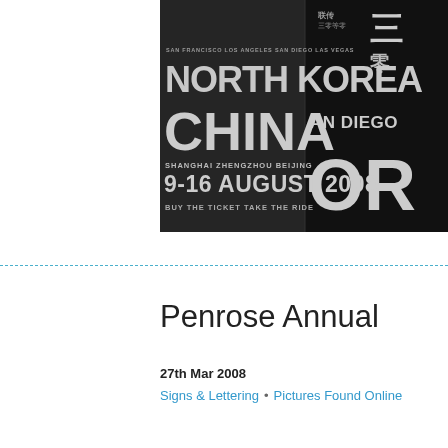[Figure (photo): Black and white photograph of a typographic poster showing text: USA, SAN FRANCISCO LOS ANGELES SAN DIEGO LAS VEGAS, NORTH KOREA, CHINA, SAN DIEGO, SHANGHAI ZHENGZHOU BEIJING, 9-16 AUGUST 2008, BUY THE TICKET TAKE THE RIDE, with Chinese characters. Bold grunge style lettering on dark background.]
Penrose Annual
27th Mar 2008
Signs & Lettering • Pictures Found Online